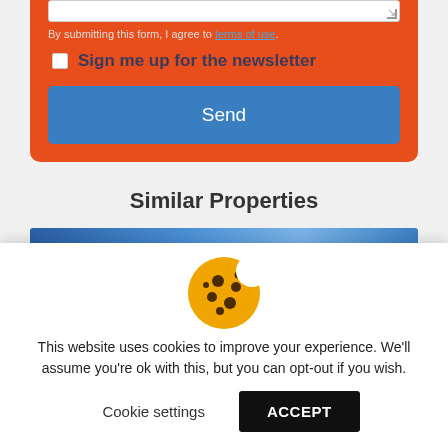By submitting this form, I agree to terms of use.
Sign me up for the newsletter
Send
Similar Properties
[Figure (other): Cookie consent icon — a cookie emoji]
This website uses cookies to improve your experience. We'll assume you're ok with this, but you can opt-out if you wish.
Cookie settings
ACCEPT